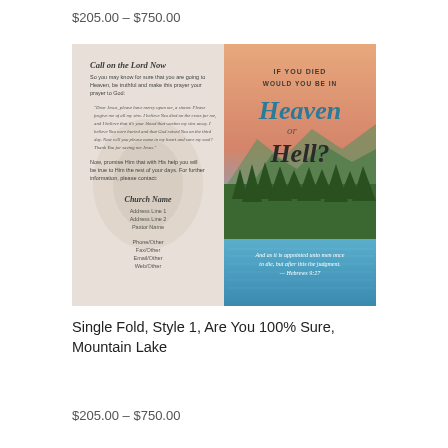$205.00 – $750.00
[Figure (illustration): Product image of a bi-fold gospel tract. Left panel shows text 'Call on the Lord Now' with a prayer and church contact fields on a light floral background. Right panel shows a scenic mountain lake with forest and sunset sky, with the text 'IF YOU DIED WOULD YOU BE IN Heaven or Hell?' and a Bible verse 'And as it is appointed unto men once to die, but after this the judgment. — Hebrews 9:27']
Single Fold, Style 1, Are You 100% Sure, Mountain Lake
$205.00 – $750.00